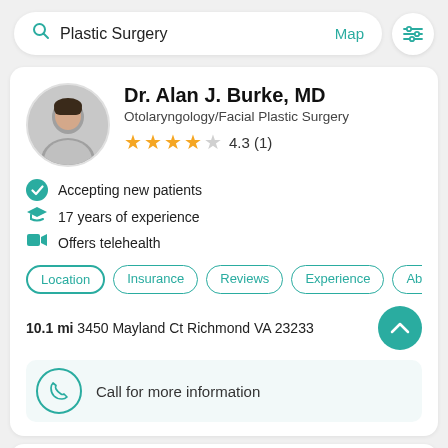Plastic Surgery  Map
Dr. Alan J. Burke, MD
Otolaryngology/Facial Plastic Surgery
4.3 (1)
Accepting new patients
17 years of experience
Offers telehealth
Location  Insurance  Reviews  Experience  Abo
10.1 mi 3450 Mayland Ct Richmond VA 23233
Call for more information